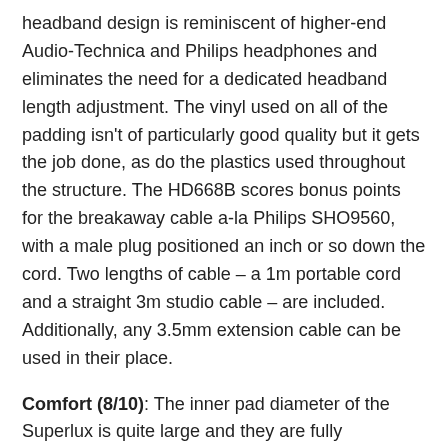headband design is reminiscent of higher-end Audio-Technica and Philips headphones and eliminates the need for a dedicated headband length adjustment. The vinyl used on all of the padding isn't of particularly good quality but it gets the job done, as do the plastics used throughout the structure. The HD668B scores bonus points for the breakaway cable a-la Philips SHO9560, with a male plug positioned an inch or so down the cord. Two lengths of cable – a 1m portable cord and a straight 3m studio cable – are included. Additionally, any 3.5mm extension cable can be used in their place.
Comfort (8/10): The inner pad diameter of the Superlux is quite large and they are fully circumaural. Clamping force is moderate and the headphones are very light. The cups are a bit too shallow to compete with my AKG K601/K701 when it comes to wearing comfort but the pads can be stuffed to alleviate the issue. The vinyl used on the head- and earpads is thick and smooth, and